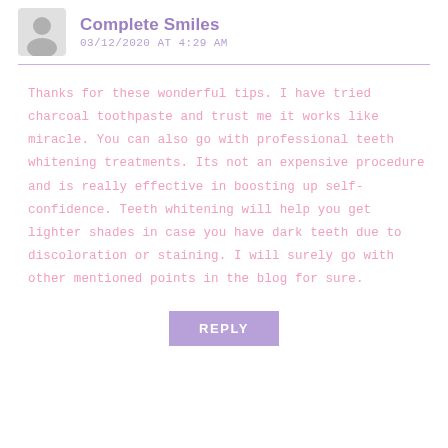Complete Smiles
03/12/2020 AT 4:29 AM
Thanks for these wonderful tips. I have tried charcoal toothpaste and trust me it works like miracle. You can also go with professional teeth whitening treatments. Its not an expensive procedure and is really effective in boosting up self-confidence. Teeth whitening will help you get lighter shades in case you have dark teeth due to discoloration or staining. I will surely go with other mentioned points in the blog for sure.
REPLY